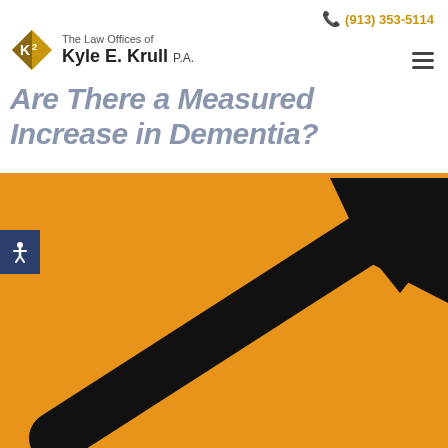(913) 353-5114
[Figure (logo): The Law Offices of Kyle E. Krull P.A. logo with gold diamond K2 icon]
Are There a Measured Increase in Dementia?
[Figure (illustration): Orange background with a large black upward-pointing arrow, suggesting an increase or rise. An accessibility button (person icon) is visible on the left side.]